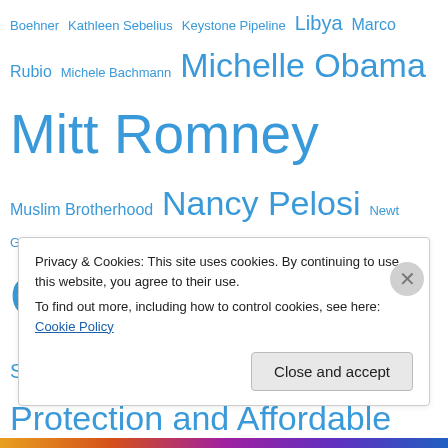Boehner Kathleen Sebelius Keystone Pipeline Libya Marco Rubio Michele Bachmann Michelle Obama Mitt Romney Muslim Brotherhood Nancy Pelosi Newt Gingrich Obama ObamaCare Occupy Wall Street Ohio Patient Protection and Affordable Care Act Paul Ryan Rand Paul Richard Nixon Rick Perry Ronald Reagan Sarah Palin Smart Girl Politics Solyndra Supreme Court Syria Tea Party Ted Cruz The Heritage Foundation Thomas Sowell Unemployment Unions United States Navy SEALs Valerie Jarrett Vladimir Putin voter fraud Warren Buffett
Privacy & Cookies: This site uses cookies. By continuing to use this website, you agree to their use. To find out more, including how to control cookies, see here: Cookie Policy